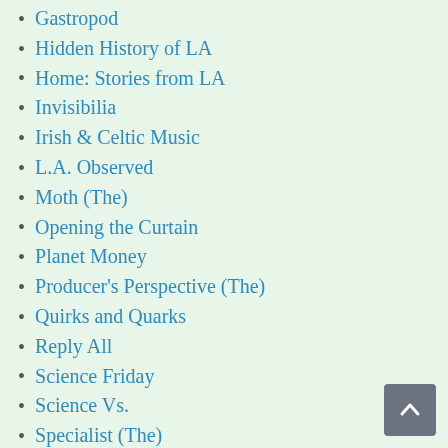Gastropod
Hidden History of LA
Home: Stories from LA
Invisibilia
Irish & Celtic Music
L.A. Observed
Moth (The)
Opening the Curtain
Planet Money
Producer's Perspective (The)
Quirks and Quarks
Reply All
Science Friday
Science Vs.
Specialist (The)
Sporkful (The)
StartUp
Surprisingly Awesome
Theater People
This American Life
Twenty Thousand Hertz
Wait Wait Don't Tell Me
Woodsongs Radio Hour
World's…